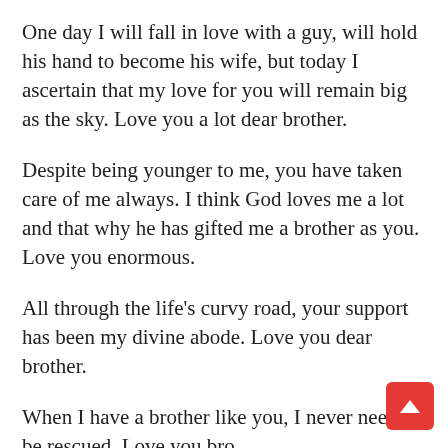One day I will fall in love with a guy, will hold his hand to become his wife, but today I ascertain that my love for you will remain big as the sky. Love you a lot dear brother.
Despite being younger to me, you have taken care of me always. I think God loves me a lot and that why he has gifted me a brother as you. Love you enormous.
All through the life's curvy road, your support has been my divine abode. Love you dear brother.
When I have a brother like you, I never need to be rescued. Love you bro.
I have only dream, it is to follow your dream, and become the best version of you. Dear brother, I feel